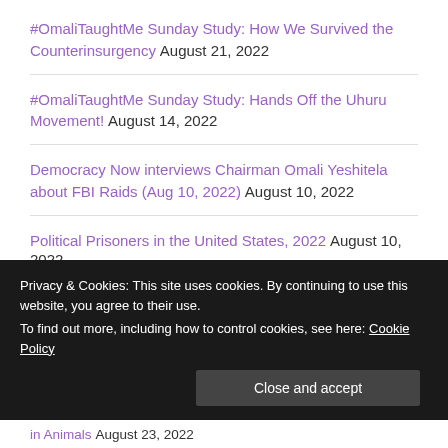#OmaliTaughtMe Sunday Study: How We Survived the Counterinsurgency August 21, 2022
#OmaliTaughtMe Sunday Study: Hands Off the Uhuru Movement! August 14, 2022
Democracy Now interviews Chairman Omali Yeshitela about FBI Raids (Aug 10, 2022) August 10, 2022
Political Prisoners in the United States, 2022 August 10, 2022
Charles and Inez Barron's Statement of Support for the Uhuru Movement August 6, 2022
Privacy & Cookies: This site uses cookies. By continuing to use this website, you agree to their use. To find out more, including how to control cookies, see here: Cookie Policy
in Animals August 23, 2022